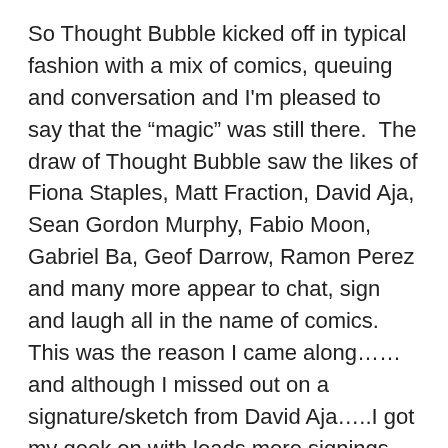So Thought Bubble kicked off in typical fashion with a mix of comics, queuing and conversation and I'm pleased to say that the “magic” was still there.  The draw of Thought Bubble saw the likes of Fiona Staples, Matt Fraction, David Aja, Sean Gordon Murphy, Fabio Moon, Gabriel Ba, Geof Darrow, Ramon Perez and many more appear to chat, sign and laugh all in the name of comics.  This was the reason I came along……and although I missed out on a signature/sketch from David Aja…..I got my geek on with loads more signings and sketches.
I was lucky enough to catch-up with some of the creators I've come to know over the last couple of years and it was like I'd just seen them yesterday.  Catching up with the team at Accent UK, the team behind Lou Scannon (Kris Carter, Dan Harris & Jim Bampfield), Jon Lock at his